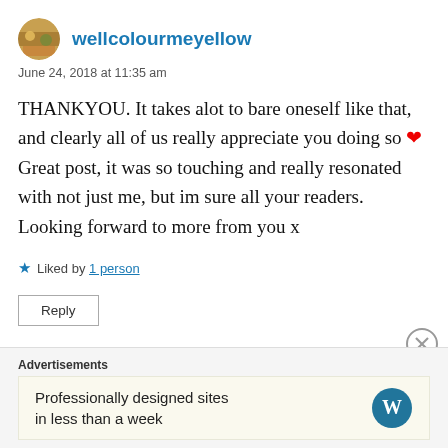wellcolourmeyellow
June 24, 2018 at 11:35 am
THANKYOU. It takes alot to bare oneself like that, and clearly all of us really appreciate you doing so ❤ Great post, it was so touching and really resonated with not just me, but im sure all your readers. Looking forward to more from you x
★ Liked by 1 person
Reply
Advertisements
Professionally designed sites in less than a week